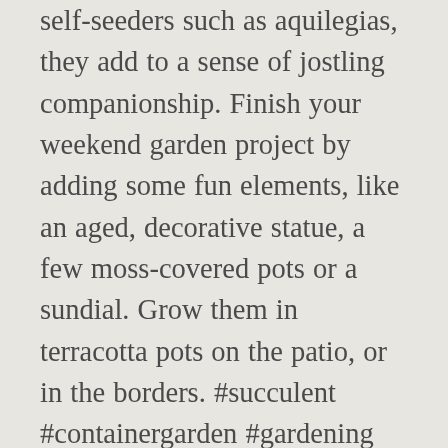self-seeders such as aquilegias, they add to a sense of jostling companionship. Finish your weekend garden project by adding some fun elements, like an aged, decorative statue, a few moss-covered pots or a sundial. Grow them in terracotta pots on the patio, or in the borders. #succulent #containergarden #gardening #houseplant. Det var dejligt, at jeg kunne fortælle, at også dette produkt er i gang med at blive fabrikeret..., Easy ideas for shade plants for containers. The only thing she's going to ... Lighten this summer's workload by building beautiful gardens in planters, steel tubs, decorative boxes, and more. The modern cottage garden style is much-influenced by Gertrude Jekyll's ideas of